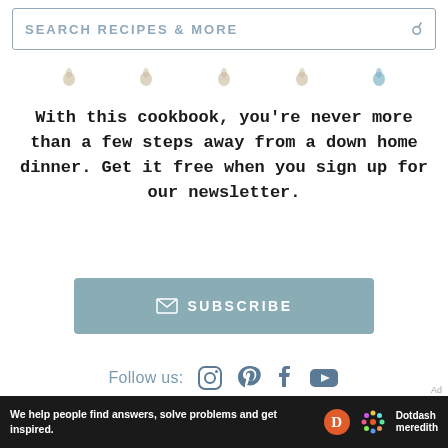SEARCH RECIPES & MORE
[Figure (illustration): Decorative drop shapes row in tan and blue]
With this cookbook, you’re never more than a few steps away from a down home dinner. Get it free when you sign up for our newsletter.
✉ SUBSCRIBE
Follow us:
Recipes
Cocktails
By Region
About Us
Advertise
Terms of Use
Ad
We help people find answers, solve problems and get inspired.